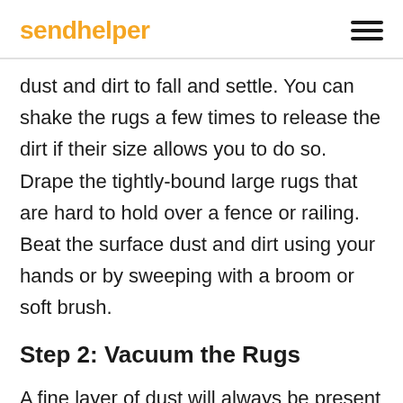sendhelper
dust and dirt to fall and settle. You can shake the rugs a few times to release the dirt if their size allows you to do so. Drape the tightly-bound large rugs that are hard to hold over a fence or railing. Beat the surface dust and dirt using your hands or by sweeping with a broom or soft brush.
Step 2: Vacuum the Rugs
A fine layer of dust will always be present